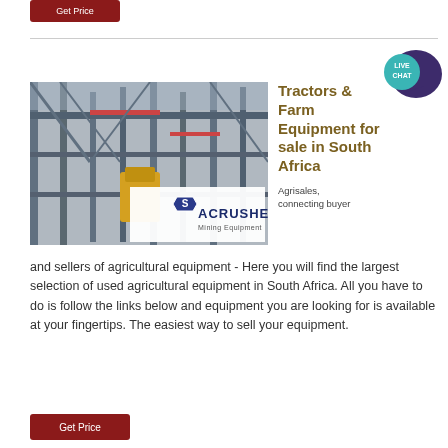Get Price
[Figure (photo): Industrial mining equipment / steel structure facility with ACRUSHER Mining Equipment logo overlay]
Tractors & Farm Equipment for sale in South Africa
Agrisales, connecting buyer and sellers of agricultural equipment - Here you will find the largest selection of used agricultural equipment in South Africa. All you have to do is follow the links below and equipment you are looking for is available at your fingertips. The easiest way to sell your equipment.
Get Price